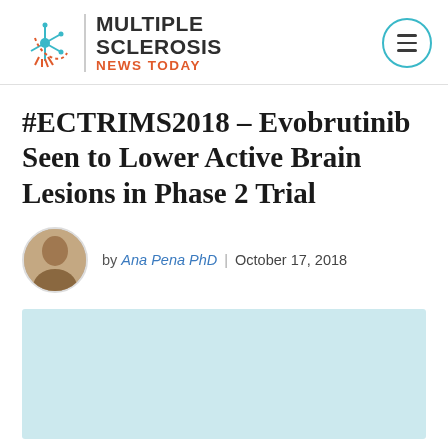Multiple Sclerosis News Today
#ECTRIMS2018 – Evobrutinib Seen to Lower Active Brain Lesions in Phase 2 Trial
by Ana Pena PhD | October 17, 2018
[Figure (photo): Light blue/teal rectangular image placeholder at the bottom of the article page]